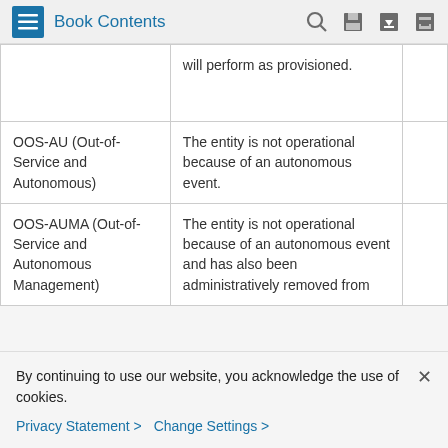Book Contents
|  | will perform as provisioned. |  |
| OOS-AU (Out-of-Service and Autonomous) | The entity is not operational because of an autonomous event. |  |
| OOS-AUMA (Out-of-Service and Autonomous Management) | The entity is not operational because of an autonomous event and has also been administratively removed from |  |
By continuing to use our website, you acknowledge the use of cookies.
Privacy Statement > Change Settings >